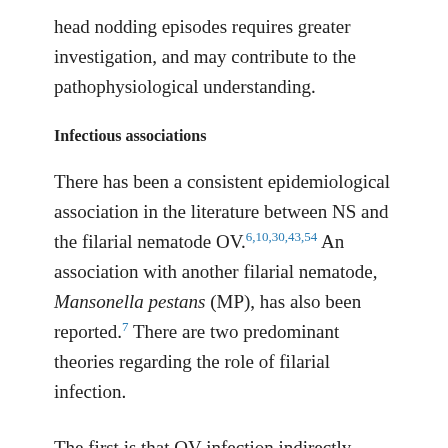head nodding episodes requires greater investigation, and may contribute to the pathophysiological understanding.
Infectious associations
There has been a consistent epidemiological association in the literature between NS and the filarial nematode OV.6,10,30,43,54 An association with another filarial nematode, Mansonella pestans (MP), has also been reported.7 There are two predominant theories regarding the role of filarial infection.
The first is that OV infection indirectly leads